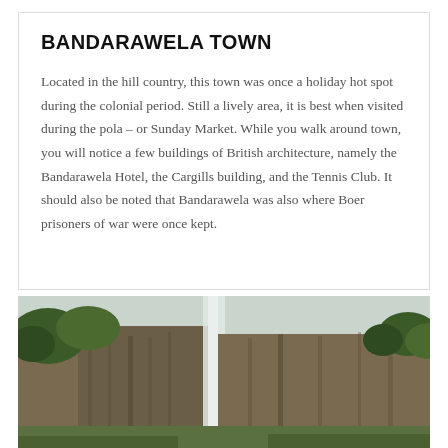BANDARAWELA TOWN
Located in the hill country, this town was once a holiday hot spot during the colonial period. Still a lively area, it is best when visited during the pola – or Sunday Market. While you walk around town, you will notice a few buildings of British architecture, namely the Bandarawela Hotel, the Cargills building, and the Tennis Club. It should also be noted that Bandarawela was also where Boer prisoners of war were once kept.
[Figure (photo): A waterfall cascading down rocky cliffs surrounded by trees and green hillside vegetation under a pale sky.]